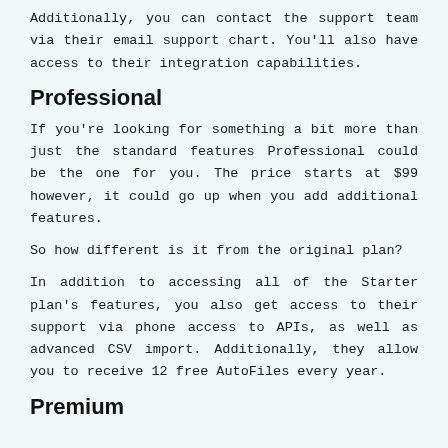Additionally, you can contact the support team via their email support chart. You'll also have access to their integration capabilities.
Professional
If you're looking for something a bit more than just the standard features Professional could be the one for you. The price starts at $99 however, it could go up when you add additional features.
So how different is it from the original plan?
In addition to accessing all of the Starter plan's features, you also get access to their support via phone access to APIs, as well as advanced CSV import. Additionally, they allow you to receive 12 free AutoFiles every year.
Premium